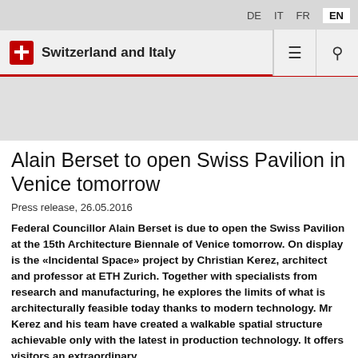DE  IT  FR  EN
Switzerland and Italy
Alain Berset to open Swiss Pavilion in Venice tomorrow
Press release, 26.05.2016
Federal Councillor Alain Berset is due to open the Swiss Pavilion at the 15th Architecture Biennale of Venice tomorrow. On display is the «Incidental Space» project by Christian Kerez, architect and professor at ETH Zurich. Together with specialists from research and manufacturing, he explores the limits of what is architecturally feasible today thanks to modern technology. Mr Kerez and his team have created a walkable spatial structure achievable only with the latest in production technology. It offers visitors an extraordinary